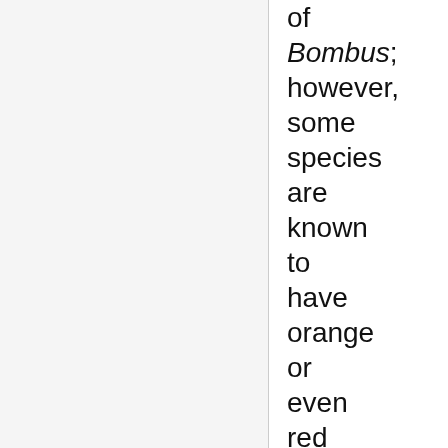of Bombus; however, some species are known to have orange or even red on their bodies